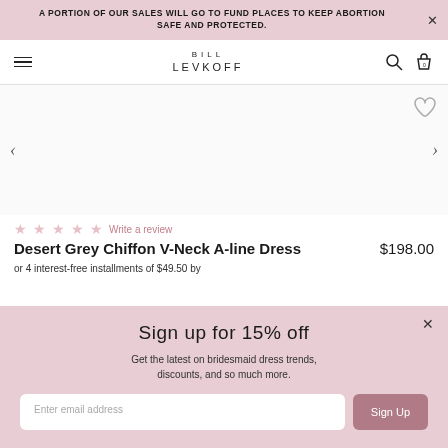A PORTION OF OUR SALES WILL GO TO FUND PLACES TO KEEP ABORTION SAFE AND PROTECTED.
[Figure (logo): Bill Levkoff brand logo with hamburger menu, search icon, and bag icon navigation bar]
[Figure (photo): Product image area with left/right navigation arrows and heart/wishlist icon — image area appears blank/white as product image is not loaded]
★ ★ ★ ★ ★ Write a review
Desert Grey Chiffon V-Neck A-line Dress
$198.00
or 4 interest-free installments of $49.50 by
Sign up for 15% off
Get the latest on bridesmaid dress trends, discounts, and so much more.
Enter email address
Sign Up